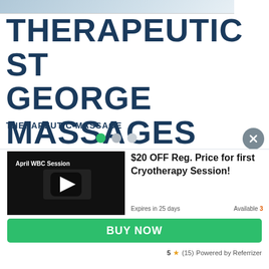[Figure (photo): Top partial banner image with light blue/grey gradient]
THERAPEUTIC ST GEORGE MASSAGES
THERAPEUTIC MASSAGE
[Figure (other): Navigation dots: one green active dot and two grey inactive dots, plus a grey circular close/X button]
[Figure (screenshot): Video thumbnail with dark background showing April WBC Session title and play button]
$20 OFF Reg. Price for first Cryotherapy Session!
Expires in 25 days
Available 3
BUY NOW
5 ★ (15)  Powered by Referrizer